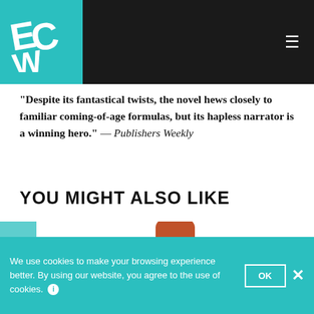[Figure (logo): ECW logo in white on teal square background, top left of dark header bar]
“Despite its fantastical twists, the novel hews closely to familiar coming-of-age formulas, but its hapless narrator is a winning hero.” — Publishers Weekly
YOU MIGHT ALSO LIKE
[Figure (photo): Book cover: A Brief History of Oversharing. A naked red-haired person holds a teal sign with bold black text reading 'A BRIEF HISTORY OF OVERSHARING']
We use cookies to make your browsing experience better. By using our website, you agree to the use of cookies.